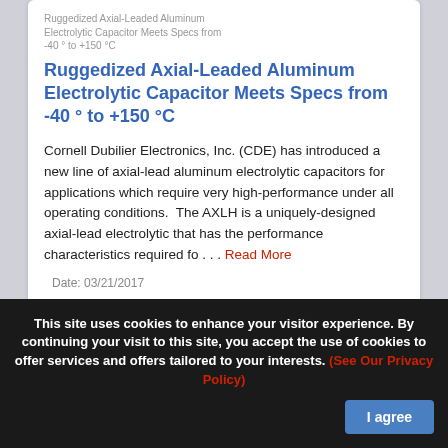Ruggedized Axial-Leaded Aluminum Electrolytic Capacitor Meets Specs from -40 ° to +150 °C
Ruggedized Axial-Leaded Aluminum Electrolytic Capacitor Meets Specs from -40 ° to +150 °C
Cornell Dubilier Electronics, Inc. (CDE) has introduced a new line of axial-lead aluminum electrolytic capacitors for applications which require very high-performance under all operating conditions.  The AXLH is a uniquely-designed axial-lead electrolytic that has the performance characteristics required fo . . . Read More
Date: 03/21/2017
This site uses cookies to enhance your visitor experience. By continuing your visit to this site, you accept the use of cookies to offer services and offers tailored to your interests. (See Our Privacy Policy)